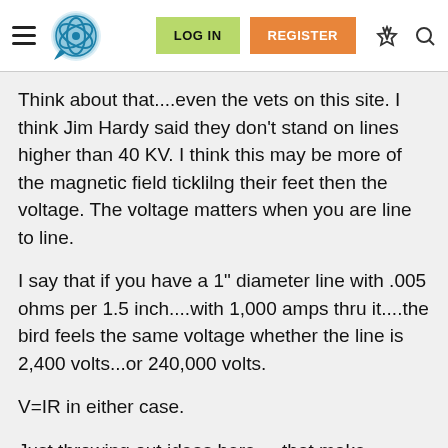LOG IN | REGISTER
Think about that....even the vets on this site. I think Jim Hardy said they don't stand on lines higher than 40 KV. I think this may be more of the magnetic field ticklilng their feet then the voltage. The voltage matters when you are line to line.
I say that if you have a 1" diameter line with .005 ohms per 1.5 inch....with 1,000 amps thru it....the bird feels the same voltage whether the line is 2,400 volts...or 240,000 volts.
V=IR in either case.
Just throwing out ideas here.....that make